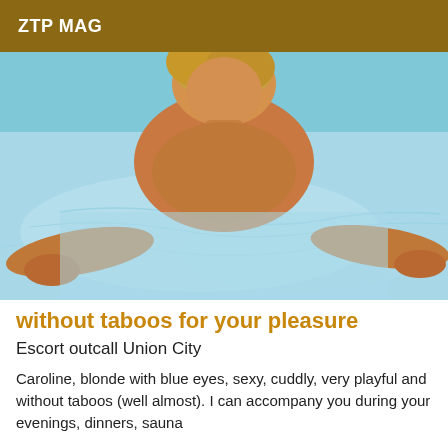ZTP MAG
[Figure (photo): Woman with blonde hair posing in shallow beach water, viewed from above and close-up, turquoise water visible around her.]
without taboos for your pleasure
Escort outcall Union City
Caroline, blonde with blue eyes, sexy, cuddly, very playful and without taboos (well almost). I can accompany you during your evenings, dinners, sauna